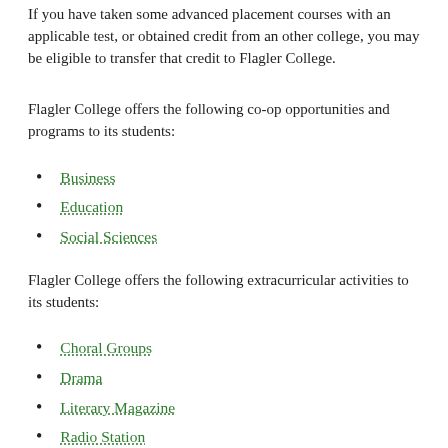If you have taken some advanced placement courses with an applicable test, or obtained credit from an other college, you may be eligible to transfer that credit to Flagler College.
Flagler College offers the following co-op opportunities and programs to its students:
Business
Education
Social Sciences
Flagler College offers the following extracurricular activities to its students:
Choral Groups
Drama
Literary Magazine
Radio Station